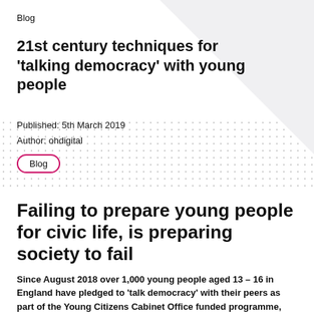Blog
21st century techniques for 'talking democracy' with young people
Published: 5th March 2019
Author: ohdigital
Blog
Failing to prepare young people for civic life, is preparing society to fail
Since August 2018 over 1,000 young people aged 13 – 16 in England have pledged to 'talk democracy' with their peers as part of the Young Citizens Cabinet Office funded programme,